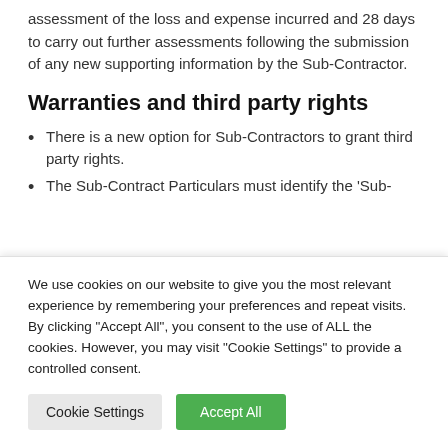assessment of the loss and expense incurred and 28 days to carry out further assessments following the submission of any new supporting information by the Sub-Contractor.
Warranties and third party rights
There is a new option for Sub-Contractors to grant third party rights.
The Sub-Contract Particulars must identify the 'Sub-
We use cookies on our website to give you the most relevant experience by remembering your preferences and repeat visits. By clicking "Accept All", you consent to the use of ALL the cookies. However, you may visit "Cookie Settings" to provide a controlled consent.